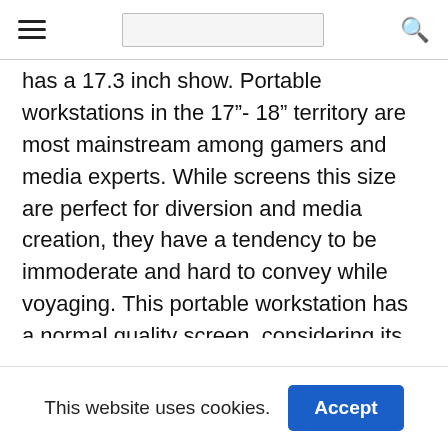≡  [search bar]  🔍
has a 17.3 inch show. Portable workstations in the 17"- 18" territory are most mainstream among gamers and media experts. While screens this size are perfect for diversion and media creation, they have a tendency to be immoderate and hard to convey while voyaging. This portable workstation has a normal quality screen, considering its extensive size. HD photograph and video ought to look great on this screen and will be adequate for the vast majority, yet it won't be as sharp as the photo on a showcase with a higher aggregate
This website uses cookies.  Accept